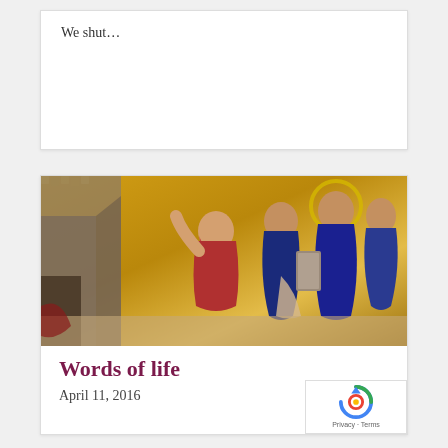We shut…
[Figure (photo): Byzantine-style mosaic depicting several robed figures including Jesus with a halo, engaged in conversation or teaching, with a golden background]
Words of life
April 11, 2016